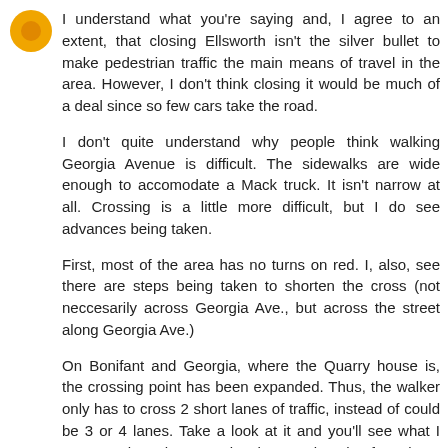[Figure (illustration): Orange circular avatar icon with a darker orange circle in the center, representing a user profile picture]
I understand what you're saying and, I agree to an extent, that closing Ellsworth isn't the silver bullet to make pedestrian traffic the main means of travel in the area. However, I don't think closing it would be much of a deal since so few cars take the road.
I don't quite understand why people think walking Georgia Avenue is difficult. The sidewalks are wide enough to accomodate a Mack truck. It isn't narrow at all. Crossing is a little more difficult, but I do see advances being taken.
First, most of the area has no turns on red. I, also, see there are steps being taken to shorten the cross (not neccesarily across Georgia Ave., but across the street along Georgia Ave.)
On Bonifant and Georgia, where the Quarry house is, the crossing point has been expanded. Thus, the walker only has to cross 2 short lanes of traffic, instead of could be 3 or 4 lanes. Take a look at it and you'll see what I means. The other crossing have a bunch of markups where it looks like similar work will be done.